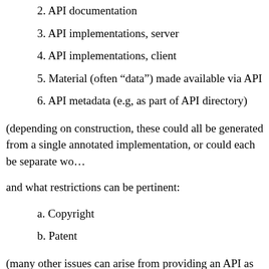2. API documentation
3. API implementations, server
4. API implementations, client
5. Material (often “data”) made available via API
6. API metadata (e.g, as part of API directory)
(depending on construction, these could all be generated from a single annotated implementation, or could each be separate wo…
and what restrictions can be pertinent:
a. Copyright
b. Patent
(many other issues can arise from providing an API as a… privacy, though those are usually not in the range of pub… are orthogonal to API “IP”, so I’ll ignore them here)